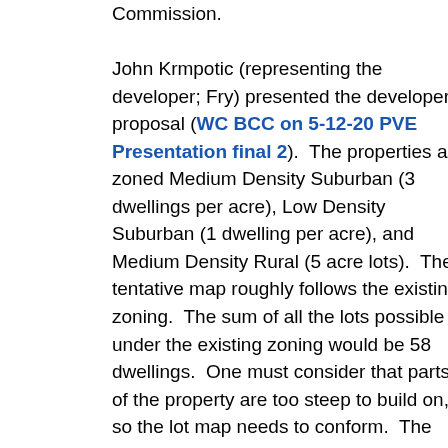Commission.

John Krmpotic (representing the developer; Fry) presented the developer proposal (WC BCC on 5-12-20 PVE Presentation final 2).  The properties are zoned Medium Density Suburban (3 dwellings per acre), Low Density Suburban (1 dwelling per acre), and Medium Density Rural (5 acre lots).  Their tentative map roughly follows the existing zoning.  The sum of all the lots possible under the existing zoning would be 58 dwellings.  One must consider that parts of the property are too steep to build on, so the lot map needs to conform.  The new design does not include “clustering” so that all the lots conform to the existing zoning.  (Following the clustering rules gives the developer more flexibility, but results in smaller lots.)  Krmpotic reported that